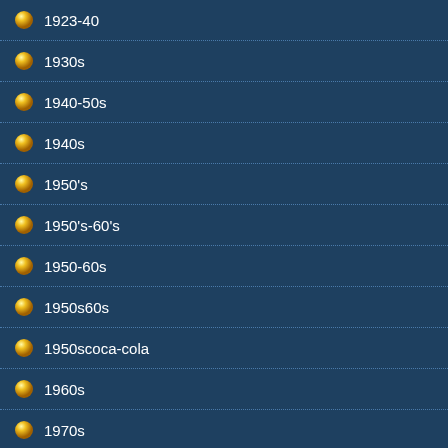1923-40
1930s
1940-50s
1940s
1950's
1950's-60's
1950-60s
1950s60s
1950scoca-cola
1960s
1970s
1c3z6a642aa
1set
2002-2004
2005-2008